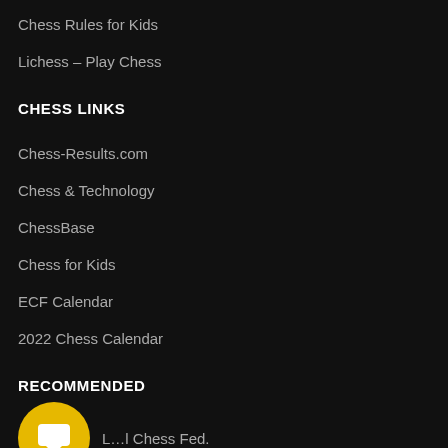Chess Rules for Kids
Lichess – Play Chess
CHESS LINKS
Chess-Results.com
Chess & Technology
ChessBase
Chess for Kids
ECF Calendar
2022 Chess Calendar
RECOMMENDED
L...l Chess Fed.